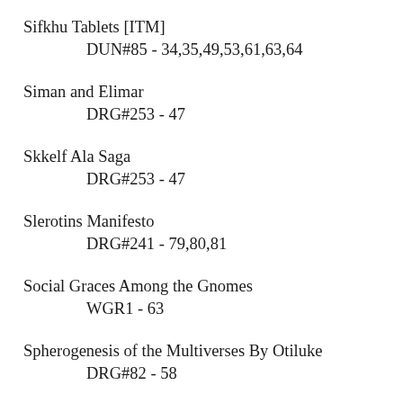Sifkhu Tablets  [ITM]
        DUN#85 - 34,35,49,53,61,63,64
Siman and Elimar
        DRG#253 - 47
Skkelf Ala Saga
        DRG#253 - 47
Slerotins Manifesto
        DRG#241 - 79,80,81
Social Graces Among the Gnomes
        WGR1 - 63
Spherogenesis of the Multiverses By Otiluke
        DRG#82 - 58